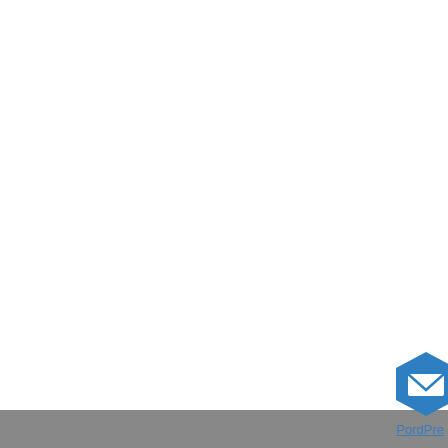Leo Blas, on November 17, 2017 at 3:02 pm said:
Is the best time to actually fight nonjudicial c... FED?
Loading...
Sheri, on November 17, 2017 at 1:28 pm said:
I have long thought that my issue could have... was not an intermediary servicer trying to p... my life in pursuit of their illegal profit
Loading...
Contribute to the discussion!
Enter your comment here...
Powered by WordPress